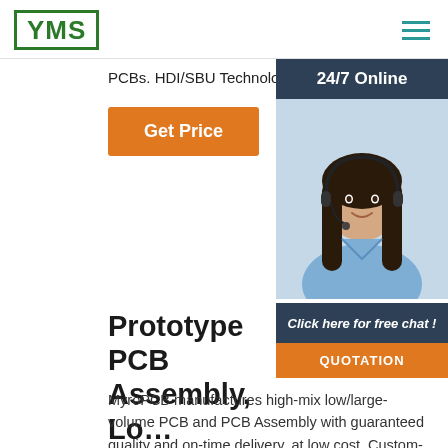[Figure (logo): YMS logo in green bordered box]
PCBs. HDI/SBU Technology.
[Figure (other): Orange 'Get Price' button]
[Figure (photo): Sidebar widget with '24/7 Online' header, photo of woman with headset, 'Click here for free chat!' text and orange QUOTATION button]
Prototype PCB Assembly, Lo… Volume PCB/PCBA,
MyroPCB manufactures high-mix low/large-volume PCB and PCB Assembly with guaranteed quality and on-time delivery, at low cost. Custom-made stencils, cables and